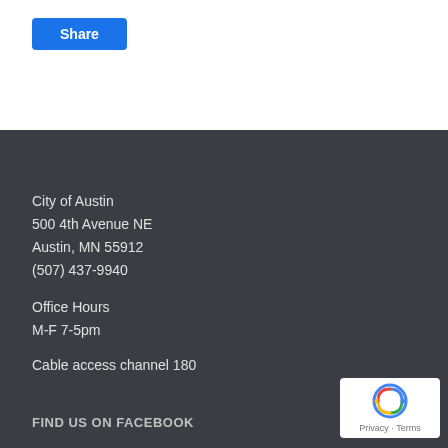Share
City of Austin
500 4th Avenue NE
Austin, MN 55912
(507) 437-9940

Office Hours
M-F 7-5pm

Cable access channel 180
FIND US ON FACEBOOK
[Figure (logo): reCAPTCHA badge with Google logo and Privacy - Terms text]